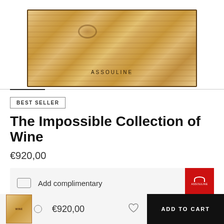[Figure (photo): Wooden box/crate product packaging with 'ASSOULINE' text engraved, showing wood grain texture and knot]
BEST SELLER
The Impossible Collection of Wine
€920,00
Add complimentary
€920,00
ADD TO CART